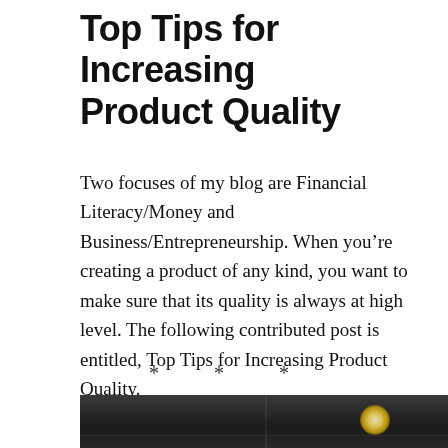Top Tips for Increasing Product Quality
Two focuses of my blog are Financial Literacy/Money and Business/Entrepreneurship. When you’re creating a product of any kind, you want to make sure that its quality is always at high level. The following contributed post is entitled, Top Tips for Increasing Product Quality.
* * *
[Figure (photo): Black and white photograph of an industrial or workshop setting, partially visible at the bottom of the page, with a bright light source visible in the upper right area of the image.]